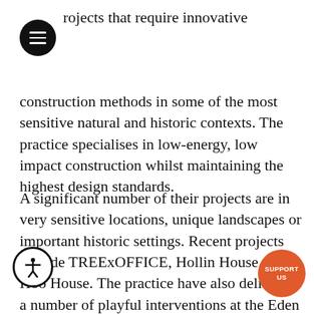projects that require innovative construction methods in some of the most sensitive natural and historic contexts. The practice specialises in low-energy, low impact construction whilst maintaining the highest design standards.
A significant number of their projects are in very sensitive locations, unique landscapes or important historic settings. Recent projects include TREExOFFICE, Hollin House and Hoo House. The practice have also delivered a number of playful interventions at the Eden Project includ a series of high level visitor walkways and